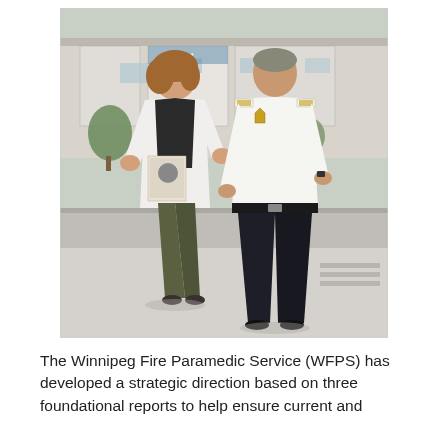[Figure (photo): Two people standing outdoors in front of a strip mall on a sunny day. On the left is a woman wearing a white blazer over a black top and olive-green capri pants, holding a booklet or pamphlet. On the right is a man in a white fire department uniform shirt with rank epaulettes, a badge, and dark trousers. Storefronts including a pet store are visible in the background.]
The Winnipeg Fire Paramedic Service (WFPS) has developed a strategic direction based on three foundational reports to help ensure current and